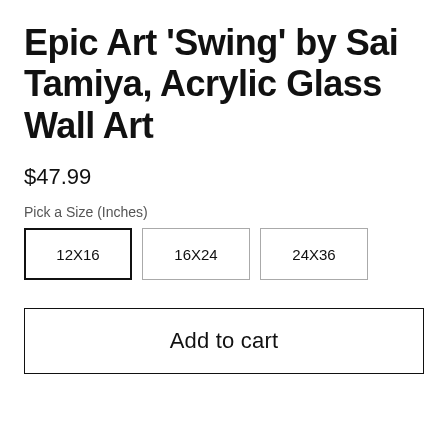Epic Art 'Swing' by Sai Tamiya, Acrylic Glass Wall Art
$47.99
Pick a Size (Inches)
12X16
16X24
24X36
Add to cart